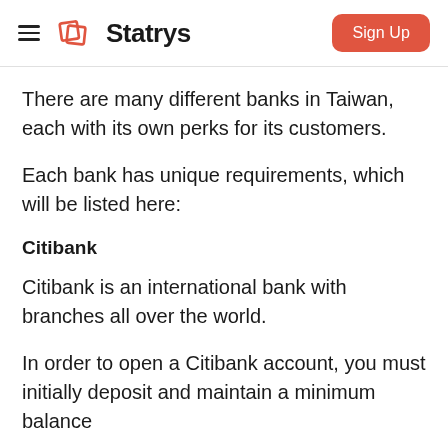Statrys — Sign Up
There are many different banks in Taiwan, each with its own perks for its customers.
Each bank has unique requirements, which will be listed here:
Citibank
Citibank is an international bank with branches all over the world.
In order to open a Citibank account, you must initially deposit and maintain a minimum balance